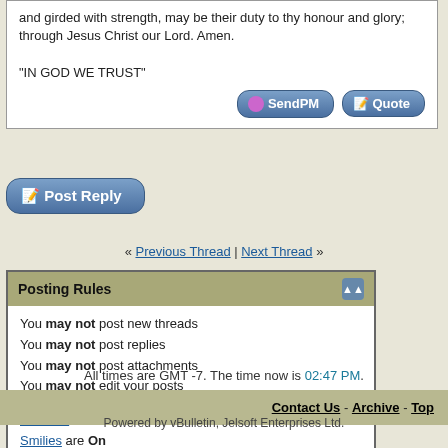and girded with strength, may be their duty to thy honour and glory; through Jesus Christ our Lord. Amen.

"IN GOD WE TRUST"
[Figure (screenshot): SendPM and Quote buttons (blue rounded rectangle buttons)]
[Figure (screenshot): Post Reply button (blue rounded rectangle button with icon)]
« Previous Thread | Next Thread »
Posting Rules
You may not post new threads
You may not post replies
You may not post attachments
You may not edit your posts
BB code is On
Smilies are On
[IMG] code is On
HTML code is On
All times are GMT -7. The time now is 02:47 PM.
Contact Us - Archive - Top
Powered by vBulletin, Jelsoft Enterprises Ltd.